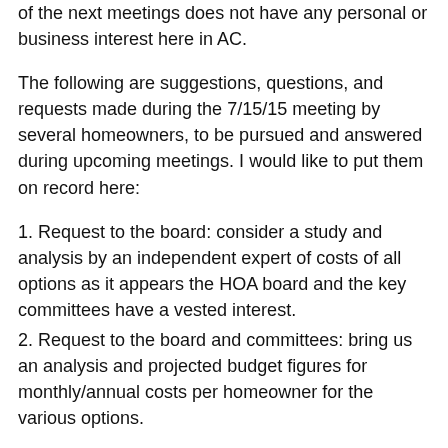of the next meetings does not have any personal or business interest here in AC.
The following are suggestions, questions, and requests made during the 7/15/15 meeting by several homeowners, to be pursued and answered during upcoming meetings. I would like to put them on record here:
1. Request to the board: consider a study and analysis by an independent expert of costs of all options as it appears the HOA board and the key committees have a vested interest.
2. Request to the board and committees: bring us an analysis and projected budget figures for monthly/annual costs per homeowner for the various options.